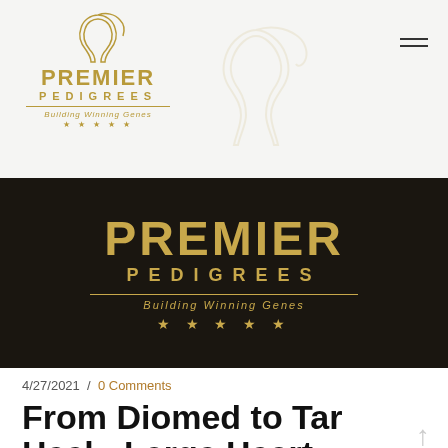[Figure (logo): Premier Pedigrees logo top-left with horse silhouette, brand name in gold, tagline 'Building Winning Genes', and five stars]
[Figure (logo): Premier Pedigrees large logo centered on dark banner background with gold text, tagline and stars]
4/27/2021  /  0 Comments
From Diomed to Tar Heel - Large Heart Sources.